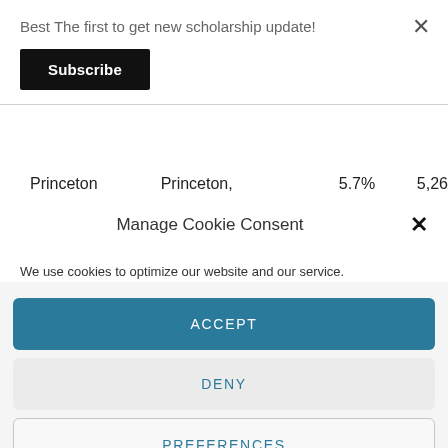Best The first to get new scholarship update!
Subscribe
| Princeton | Princeton, | 5.7% | 5,26 |
| --- | --- | --- | --- |
Manage Cookie Consent
We use cookies to optimize our website and our service.
ACCEPT
DENY
PREFERENCES
Privacy Policy